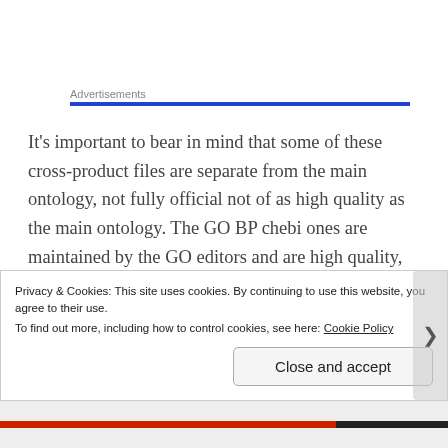Advertisements
It's important to bear in mind that some of these cross-product files are separate from the main ontology, not fully official not of as high quality as the main ontology. The GO BP chebi ones are maintained by the GO editors and are high quality, but the definitions for GO MF reactions were created by me, semi-automatically, and not as high quality. This draws attention to the need for
Privacy & Cookies: This site uses cookies. By continuing to use this website, you agree to their use.
To find out more, including how to control cookies, see here: Cookie Policy
Close and accept